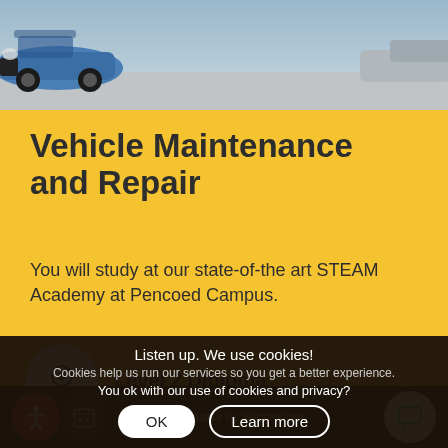[Figure (photo): Top strip photo showing a blue car and workshop/garage background]
Vehicle Maintenance and Repair
You will study at our state-of-the art STEAM Academy at Pencoed Campus.
Level 2 Diploma
Listen up. We use cookies! Cookies help us run our services so you get a better experience. You ok with our use of cookies and privacy?
1 year full-time
Starts in September